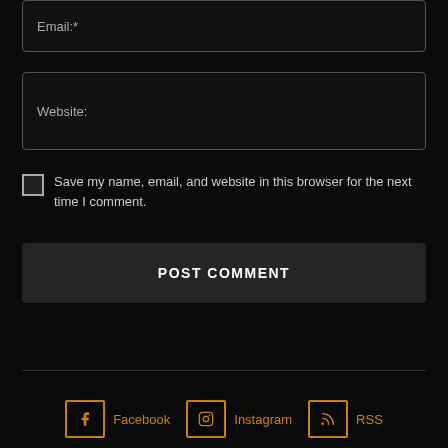Email:*
Website:
Save my name, email, and website in this browser for the next time I comment.
POST COMMENT
Facebook  Instagram  RSS